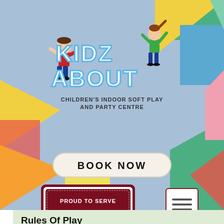[Figure (logo): Kidz About children's indoor soft play and party centre logo with two cartoon children and colorful bubble letters]
[Figure (other): BOOK NOW button with rounded rectangle white/cream background]
[Figure (logo): Proud to Serve Costa coffee badge logo in dark red/maroon colors]
[Figure (other): Hamburger menu button with three horizontal lines in a square border]
Rules Of Play
We would like to remind you that all children are the responsibility of their parents/carers. Whilst Kidz About is all bout having fun, we have 'Rules of Play' that we ask all visitors to adhere to. This helps ensure the safety of